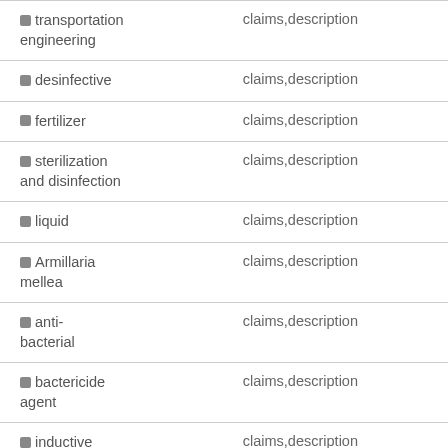| Term | Source |
| --- | --- |
| transportation engineering | claims,description |
| desinfective | claims,description |
| fertilizer | claims,description |
| sterilization and disinfection | claims,description |
| liquid | claims,description |
| Armillaria mellea | claims,description |
| anti-bacterial | claims,description |
| bactericide agent | claims,description |
| inductive effect | claims,description |
| (partially visible) | claims,description |